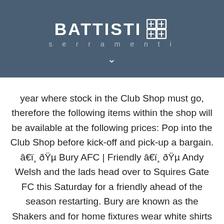[Figure (logo): Battisti Serramenti logo with white text and grid icon on dark blue/slate background, with a downward chevron below]
year where stock in the Club Shop must go, therefore the following items within the shop will be available at the following prices: Pop into the Club Shop before kick-off and pick-up a bargain. â€ï¸ ðŸµ Bury AFC | Friendly â€ï¸ ðŸµ Andy Welsh and the lads head over to Squires Gate FC this Saturday for a friendly ahead of the season restarting. Bury are known as the Shakers and for home fixtures wear white shirts with blue sleeves, blue shorts and white socks. Refunds will be processed to the credit card of the initial purchase. To do this click on the cookie settings button below. Shop for official Bury FC merchandise. Bury FC have been liquidated over financial